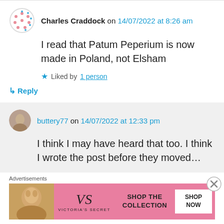Charles Craddock on 14/07/2022 at 8:26 am
I read that Patum Peperium is now made in Poland, not Elsham
Liked by 1 person
Reply
buttery77 on 14/07/2022 at 12:33 pm
I think I may have heard that too. I think I wrote the post before they moved…
Advertisements
[Figure (photo): Victoria's Secret advertisement banner with a woman's photo on the left, VS logo and brand name in center, SHOP THE COLLECTION text, and SHOP NOW button on right]